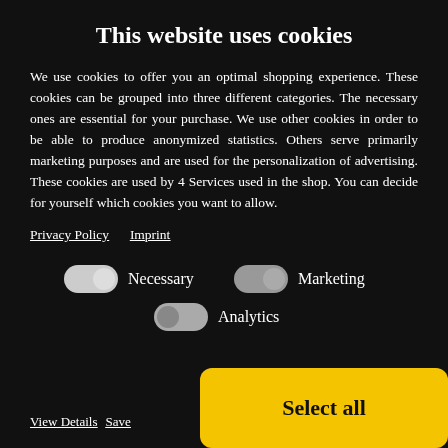This website uses cookies
We use cookies to offer you an optimal shopping experience. These cookies can be grouped into three different categories. The necessary ones are essential for your purchase. We use other cookies in order to be able to produce anonymized statistics. Others serve primarily marketing purposes and are used for the personalization of advertising. These cookies are used by 4 Services used in the shop. You can decide for yourself which cookies you want to allow.
Privacy Policy   Imprint
[Figure (infographic): Three toggle switches labeled Necessary (on, white track), Marketing (off, grey knob right), and Analytics (off, grey knob left). Necessary toggle is enabled, Marketing and Analytics are disabled.]
View Details   Save
Select all